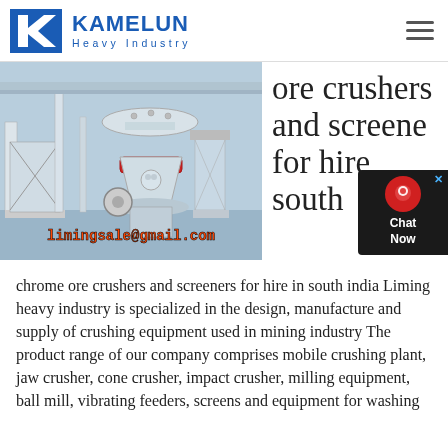[Figure (logo): Kamelun Heavy Industry logo with blue K icon and blue text]
[Figure (photo): Industrial ore crushers and screening machinery in a factory setting, with red and white cone crusher visible. Text overlay: limingsale@gmail.com]
ore crushers and screeners for hire south
chrome ore crushers and screeners for hire in south india Liming heavy industry is specialized in the design, manufacture and supply of crushing equipment used in mining industry The product range of our company comprises mobile crushing plant, jaw crusher, cone crusher, impact crusher, milling equipment, ball mill, vibrating feeders, screens and equipment for washing